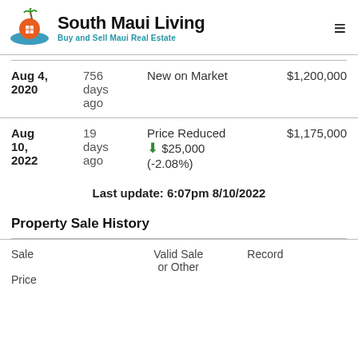South Maui Living - Buy and Sell Maui Real Estate
| Date | Days | Event | Price |
| --- | --- | --- | --- |
| Aug 4, 2020 | 756 days ago | New on Market | $1,200,000 |
| Aug 10, 2022 | 19 days ago | Price Reduced ↓ $25,000 (-2.08%) | $1,175,000 |
Last update: 6:07pm 8/10/2022
Property Sale History
| Sale | Price | Valid Sale or Other | Record |
| --- | --- | --- | --- |